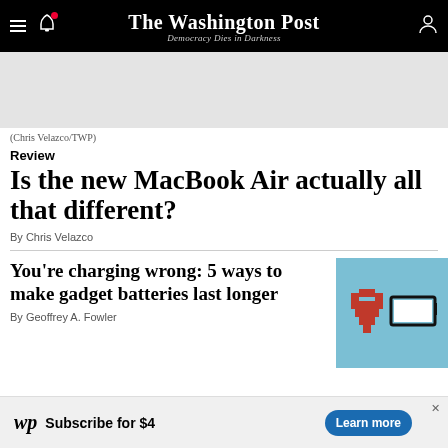The Washington Post — Democracy Dies in Darkness
[Figure (photo): Gray placeholder image area for MacBook Air article photo]
(Chris Velazco/TWP)
Review
Is the new MacBook Air actually all that different?
By Chris Velazco
You're charging wrong: 5 ways to make gadget batteries last longer
By Geoffrey A. Fowler
[Figure (illustration): Pixel art illustration of a heart and a low battery icon on teal background]
Subscribe for $4  Learn more